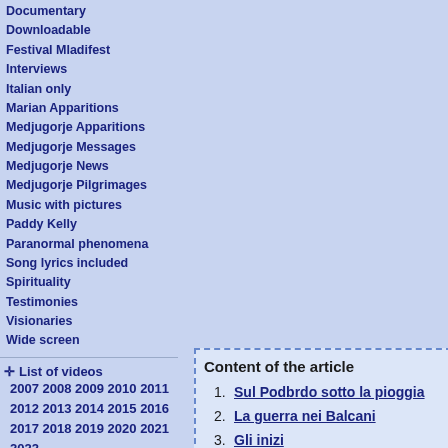Documentary
Downloadable
Festival Mladifest
Interviews
Italian only
Marian Apparitions
Medjugorje Apparitions
Medjugorje Messages
Medjugorje News
Medjugorje Pilgrimages
Music with pictures
Paddy Kelly
Paranormal phenomena
Song lyrics included
Spirituality
Testimonies
Visionaries
Wide screen
✛ List of videos
2007 2008 2009 2010 2011 2012 2013 2014 2015 2016 2017 2018 2019 2020 2021 2022
Our Lady of Medjugorje messages toolbox
✛ Concordance
Content of the article
1. Sul Podbrdo sotto la pioggia
2. La guerra nei Balcani
3. Gli inizi
4. Fenomeno del "Riposo nello Spi
5. I segreti